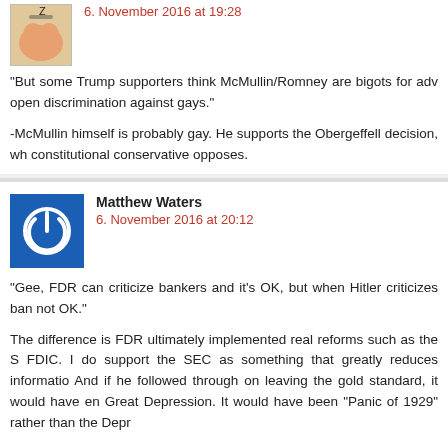[Figure (photo): Cartoon avatar icon of sleeping character]
6. November 2016 at 19:28
“But some Trump supporters think McMullin/Romney are bigots for adv open discrimination against gays.”
-McMullin himself is probably gay. He supports the Obergeffell decision, wh constitutional conservative opposes.
Matthew Waters
[Figure (logo): Blue square power button icon avatar]
6. November 2016 at 20:12
“Gee, FDR can criticize bankers and it’s OK, but when Hitler criticizes ban not OK.”
The difference is FDR ultimately implemented real reforms such as the S FDIC. I do support the SEC as something that greatly reduces informatio And if he followed through on leaving the gold standard, it would have en Great Depression. It would have been “Panic of 1929” rather than the Depr
From personal experience though, those who cry about some vague inter “globalist” conspiracy of bankers will simply not listen to anything approa fact, especially on monetary policy. I don’t really get it. There is some psych reason for the vague, impersonal and wrong conspiracy to trump anythi based and concrete action.